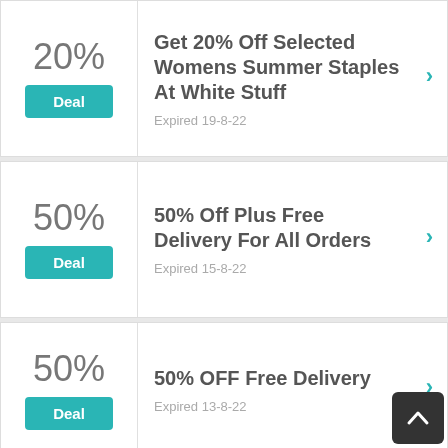20%
Deal
Get 20% Off Selected Womens Summer Staples At White Stuff
Expired 19-8-22
50%
Deal
50% Off Plus Free Delivery For All Orders
Expired 15-8-22
50%
Deal
50% OFF Free Delivery
Expired 13-8-22